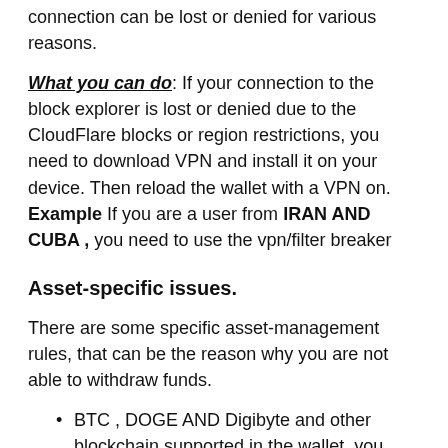connection can be lost or denied for various reasons.
What you can do: If your connection to the block explorer is lost or denied due to the CloudFlare blocks or region restrictions, you need to download VPN and install it on your device. Then reload the wallet with a VPN on. Example If you are a user from IRAN AND CUBA , you need to use the vpn/filter breaker
Asset-specific issues.
There are some specific asset-management rules, that can be the reason why you are not able to withdraw funds.
BTC , DOGE AND Digibyte and other blockchain supported in the wallet, you need to keep some amount in respective native blockchain to pay for the transaction fee
ETH-powered assets like LINK and USDT(ERC20)